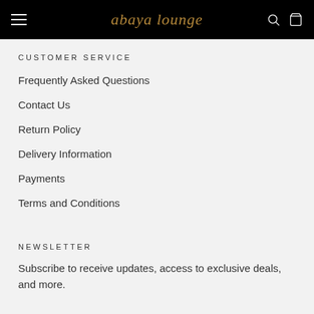abaya lounge
CUSTOMER SERVICE
Frequently Asked Questions
Contact Us
Return Policy
Delivery Information
Payments
Terms and Conditions
NEWSLETTER
Subscribe to receive updates, access to exclusive deals, and more.